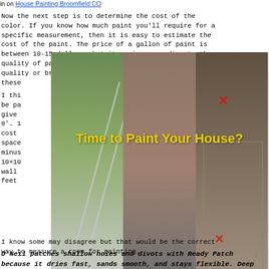in on House Painting Broomfield CO
Now the next step is to determine the cost of the color. If you know how much paint you'll require for a specific measurement, then it is easy to estimate the cost of the paint. The price of a gallon of paint is between 10-15 dollars, but it varies according to the quality of paint. The cost of the paint depends on the quality or brand of it. A good paint must have all these
[Figure (photo): Three panel composite photo showing house painting scenes with ladders, with text overlay 'Time to Paint Your House?' in yellow, and X marks overlaid]
I think ... to be paid ... give ... be 8'. 10 ... would cost ... or space ... feet minus ... me 10x10 ... ft of wall m ... uare feet ... rate. I know some may disagree but that would be the correct way to measure a room for painting.
O'Neil patches shallow holes and divots with Ready Patch because it dries fast, sands smooth, and stays flexible. Deep cracks and rotten spots are best repaired with two-step